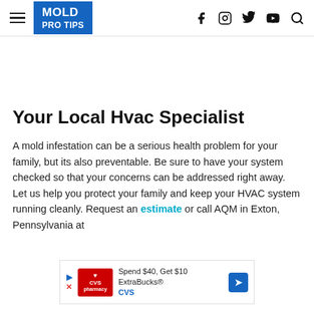MOLD PRO TIPS — navigation header with logo and social icons
Your Local Hvac Specialist
A mold infestation can be a serious health problem for your family, but its also preventable. Be sure to have your system checked so that your concerns can be addressed right away. Let us help you protect your family and keep your HVAC system running cleanly. Request an estimate or call AQM in Exton, Pennsylvania at
[Figure (other): CVS pharmacy advertisement banner: Spend $40, Get $10 ExtraBucks® CVS]